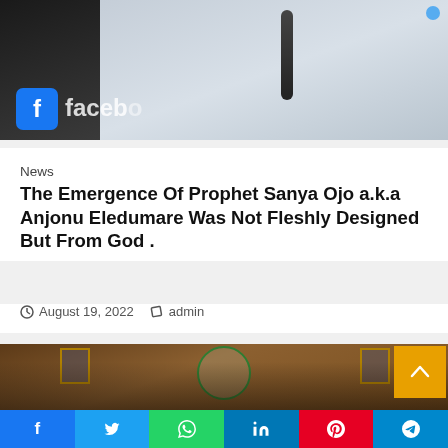[Figure (photo): Top portion of webpage showing a blurred image with Facebook watermark and a person at a microphone]
News
The Emergence Of Prophet Sanya Ojo a.k.a Anjonu Eledumare Was Not Fleshly Designed But From God .
August 19, 2022   admin
[Figure (photo): Group photo of several men standing in front of a wall with Nigerian Private Medical Practitioners association seal and portrait frames]
f  t  WhatsApp  in  P  Telegram